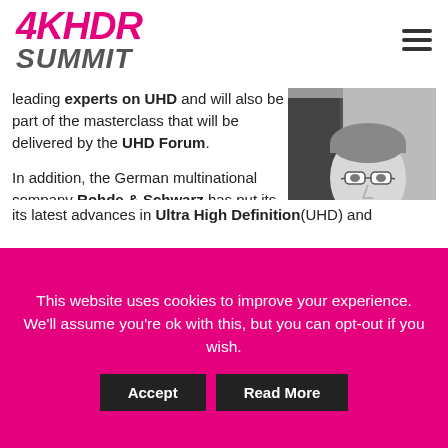4KHDR SUMMIT
leading experts on UHD and will also be part of the masterclass that will be delivered by the UHD Forum.
[Figure (photo): Black and white photo of a man with glasses and short hair, wearing a blazer]
In addition, the German multinational company Rohde & Schwarz has put its British 'guru', David Smith, in charge of the presentation of its latest advances in Ultra High Definition(UHD) and
This website uses cookies to improve your experience. We'll assume you're ok with this, but you can opt-out if you wish.